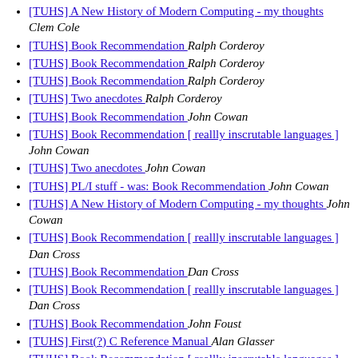[TUHS] A New History of Modern Computing - my thoughts  Clem Cole
[TUHS] Book Recommendation  Ralph Corderoy
[TUHS] Book Recommendation  Ralph Corderoy
[TUHS] Book Recommendation  Ralph Corderoy
[TUHS] Two anecdotes  Ralph Corderoy
[TUHS] Book Recommendation  John Cowan
[TUHS] Book Recommendation [ reallly inscrutable languages ]  John Cowan
[TUHS] Two anecdotes  John Cowan
[TUHS] PL/I stuff - was: Book Recommendation  John Cowan
[TUHS] A New History of Modern Computing - my thoughts  John Cowan
[TUHS] Book Recommendation [ reallly inscrutable languages ]  Dan Cross
[TUHS] Book Recommendation  Dan Cross
[TUHS] Book Recommendation [ reallly inscrutable languages ]  Dan Cross
[TUHS] Book Recommendation  John Foust
[TUHS] First(?) C Reference Manual  Alan Glasser
[TUHS] Book Recommendation [ reallly inscrutable languages ]  Alan Glasser
[TUHS] Book Recommendation [ reallly inscrutable languages ]  Alan Glasser